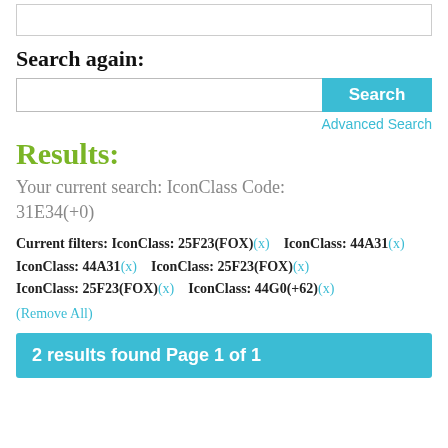Search again:
[Figure (screenshot): Search input box with cyan Search button and Advanced Search link below]
Results:
Your current search: IconClass Code: 31E34(+0)
Current filters: IconClass: 25F23(FOX)(x)   IconClass: 44A31(x)   IconClass: 44A31(x)   IconClass: 25F23(FOX)(x)   IconClass: 25F23(FOX)(x)   IconClass: 44G0(+62)(x) (Remove All)
2 results found Page 1 of 1